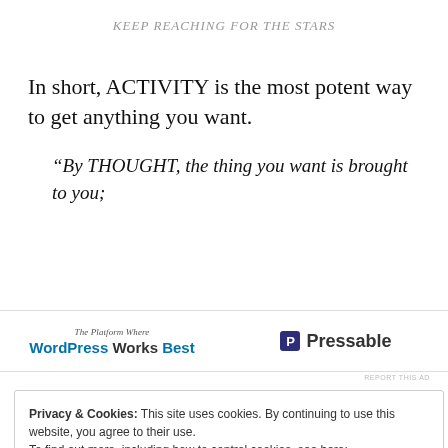KEEP REACHING FOR THE STARS
In short, ACTIVITY is the most potent way to get anything you want.
“By THOUGHT, the thing you want is brought to you;
[Figure (other): Advertisement banner showing 'The Platform Where WordPress Works Best' and 'Pressable' logos]
REPORT THIS AD
Privacy & Cookies: This site uses cookies. By continuing to use this website, you agree to their use.
To find out more, including how to control cookies, see here: Cookie Policy
Close and accept